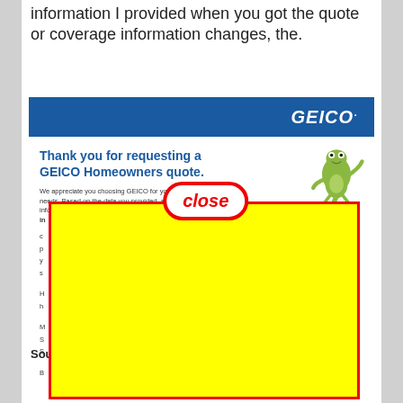information I provided when you got the quote or coverage information changes, the.
[Figure (screenshot): GEICO Homeowners insurance quote page screenshot showing GEICO blue header with GEICO logo, GEICO gecko mascot image, thank you message for requesting a GEICO Homeowners quote, body text about appreciating the customer choosing GEICO, a red-bordered 'close' bubble overlay, and a large yellow rectangle with red border covering the lower portion of the card. Partial letters visible on the left: i, c, p, y, s, H, h, M, S, S, B. Below the card a 'Source' label is partially visible.]
Thank you for requesting a GEICO Homeowners quote.
We appreciate you choosing GEICO for your insurance needs. Based on the data you provided, additional information needed to provide a quote for this residence. GEICO in...
Source